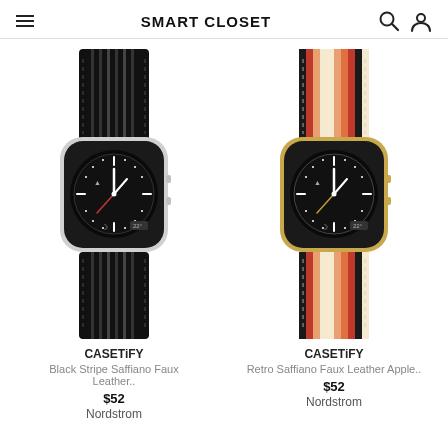SMART CLOSET
[Figure (photo): Apple Watch with black stripe Saffiano faux leather band, silver case, analog watch face showing clock hands on black display]
CASETiFY
Black Stripe Saffiano Faux Leather..
$52
Nordstrom
[Figure (photo): Apple Watch with retro multicolor stripe Saffiano faux leather band in beige, orange, red, black stripes, gold case, analog watch face showing clock hands on black display]
CASETiFY
Retro Saffiano Faux Leather Apple..
$52
Nordstrom